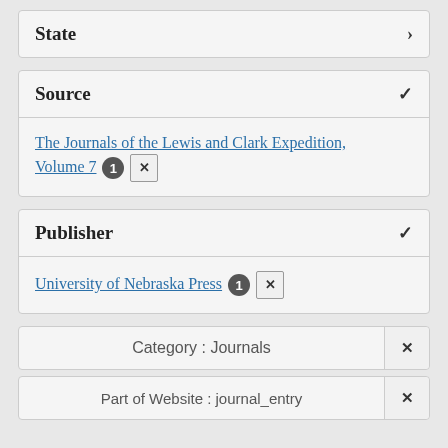State
Source
The Journals of the Lewis and Clark Expedition, Volume 7 [1] [x]
Publisher
University of Nebraska Press [1] [x]
Category : Journals [x]
Part of Website : journal_entry [x]